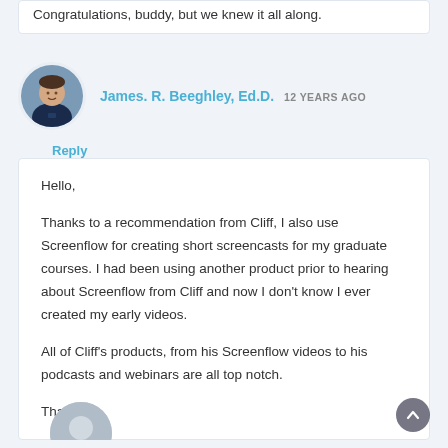Congratulations, buddy, but we knew it all along.
James. R. Beeghley, Ed.D.   12 YEARS AGO
Reply
Hello,

Thanks to a recommendation from Cliff, I also use Screenflow for creating short screencasts for my graduate courses. I had been using another product prior to hearing about Screenflow from Cliff and now I don't know I ever created my early videos.

All of Cliff's products, from his Screenflow videos to his podcasts and webinars are all top notch.

Thanks.